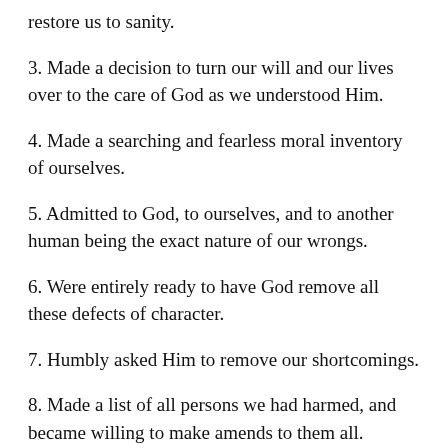restore us to sanity.
3. Made a decision to turn our will and our lives over to the care of God as we understood Him.
4. Made a searching and fearless moral inventory of ourselves.
5. Admitted to God, to ourselves, and to another human being the exact nature of our wrongs.
6. Were entirely ready to have God remove all these defects of character.
7. Humbly asked Him to remove our shortcomings.
8. Made a list of all persons we had harmed, and became willing to make amends to them all.
9. Made direct amends to such people wherever possible…